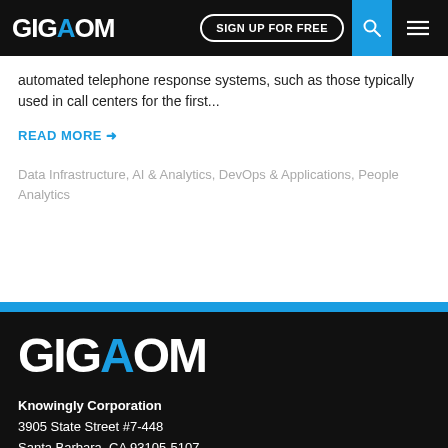GIGAOM | SIGN UP FOR FREE
automated telephone response systems, such as those typically used in call centers for the first...
READ MORE →
Data Infrastructure, AI & Analytics, DevOps & Applications, People Analytics
GIGAOM
Knowingly Corporation
3905 State Street #7-448
Santa Barbara, CA 93105-5107